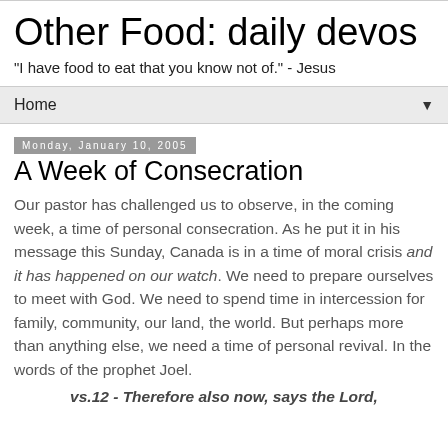Other Food: daily devos
"I have food to eat that you know not of." - Jesus
Home
Monday, January 10, 2005
A Week of Consecration
Our pastor has challenged us to observe, in the coming week, a time of personal consecration. As he put it in his message this Sunday, Canada is in a time of moral crisis and it has happened on our watch. We need to prepare ourselves to meet with God. We need to spend time in intercession for family, community, our land, the world. But perhaps more than anything else, we need a time of personal revival. In the words of the prophet Joel.
vs.12 - Therefore also now, says the Lord,